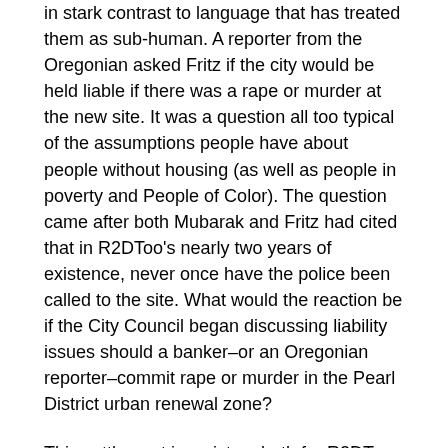in stark contrast to language that has treated them as sub-human. A reporter from the Oregonian asked Fritz if the city would be held liable if there was a rape or murder at the new site. It was a question all too typical of the assumptions people have about people without housing (as well as people in poverty and People of Color). The question came after both Mubarak and Fritz had cited that in R2DToo's nearly two years of existence, never once have the police been called to the site. What would the reaction be if the City Council began discussing liability issues should a banker–or an Oregonian reporter–commit rape or murder in the Pearl District urban renewal zone?
This settlement is a victory both for R2DToo and people without housing, and it is a testament to the power of grassroots organizing. Outside of City Hall, Greg Margolis, R2DToo supporter and member of Portland Jobs with Justice, excitedly stated, “It is extremely inspiring that a group of some of the most marginalized members of the community created a democratically self-governed organization operating on a shoestring budget and with perseverance in their message and a successful model,